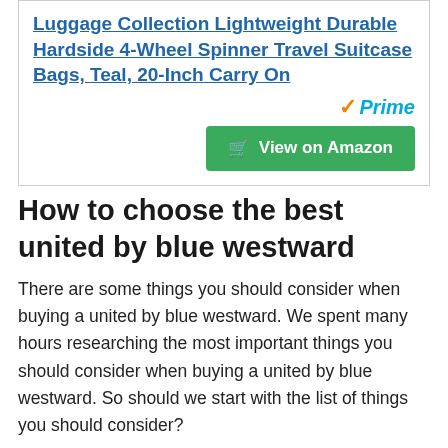Luggage Collection Lightweight Durable Hardside 4-Wheel Spinner Travel Suitcase Bags, Teal, 20-Inch Carry On
[Figure (logo): Amazon Prime badge with orange checkmark and blue italic 'Prime' text]
View on Amazon (button)
How to choose the best united by blue westward
There are some things you should consider when buying a united by blue westward. We spent many hours researching the most important things you should consider when buying a united by blue westward. So should we start with the list of things you should consider?
1. Does it have all the features you need?
Most importantly, the united by blue westward you are